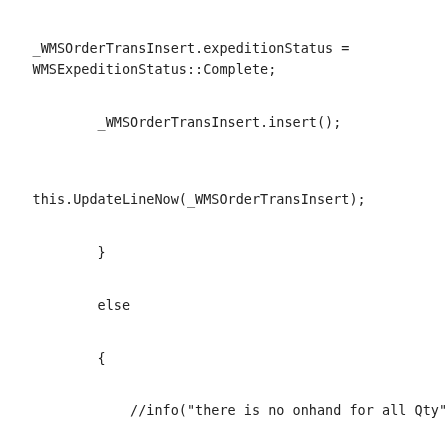_WMSOrderTransInsert.expeditionStatus = WMSExpeditionStatus::Complete;
_WMSOrderTransInsert.insert();
this.UpdateLineNow(_WMSOrderTransInsert);
}
else
{
//info("there is no onhand for all Qty")
ttsBegin;